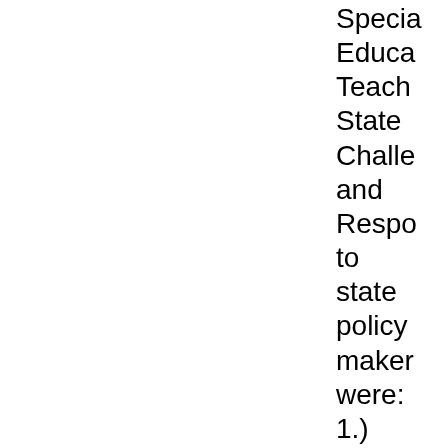Special Education Teacher State Challenges and Responses to state policy makers were: 1.) to align general and special education teacher certification systems to